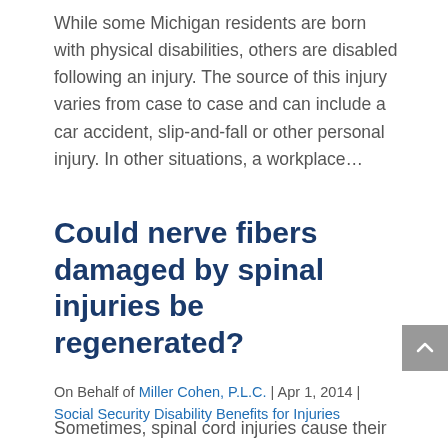While some Michigan residents are born with physical disabilities, others are disabled following an injury. The source of this injury varies from case to case and can include a car accident, slip-and-fall or other personal injury. In other situations, a workplace…
Could nerve fibers damaged by spinal injuries be regenerated?
On Behalf of Miller Cohen, P.L.C. | Apr 1, 2014 | Social Security Disability Benefits for Injuries
Sometimes, spinal cord injuries cause their victims to suffer paralysis or a loss of sensation. Such impairments can sometimes make it so a person can no longer hold the types of jobs that they were qualified to do. Such